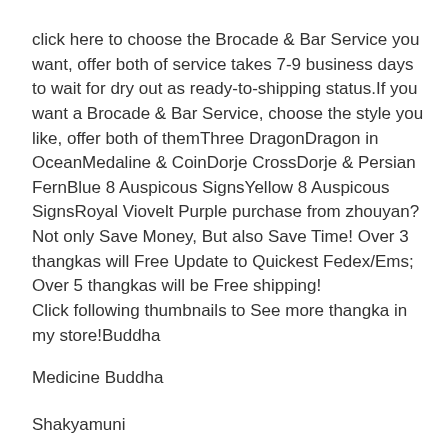click here to choose the Brocade & Bar Service you want, offer both of service takes 7-9 business days to wait for dry out as ready-to-shipping status.If you want a Brocade & Bar Service, choose the style you like, offer both of themThree DragonDragon in OceanMedaline & CoinDorje CrossDorje & Persian FernBlue 8 Auspicous SignsYellow 8 Auspicous SignsRoyal Viovelt Purple purchase from zhouyan? Not only Save Money, But also Save Time! Over 3 thangkas will Free Update to Quickest Fedex/Ems; Over 5 thangkas will be Free shipping! Click following thumbnails to See more thangka in my store!Buddha
Medicine Buddha
Shakyamuni
Amitabha